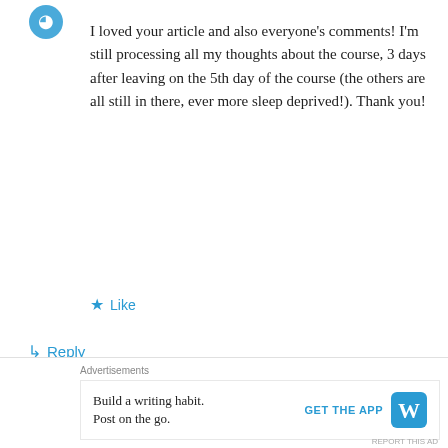[Figure (logo): Small teal/blue avatar icon in top-left]
I loved your article and also everyone's comments! I'm still processing all my thoughts about the course, 3 days after leaving on the 5th day of the course (the others are all still in there, ever more sleep deprived!). Thank you!
★ Like
↳ Reply
Advertisements
[Figure (screenshot): Advertisement banner with gradient blue/purple background and white text reading 'Simplified pricing for everything you need.']
Advertisements
[Figure (screenshot): Bottom advertisement: 'Build a writing habit. Post on the go.' with GET THE APP button and WordPress logo]